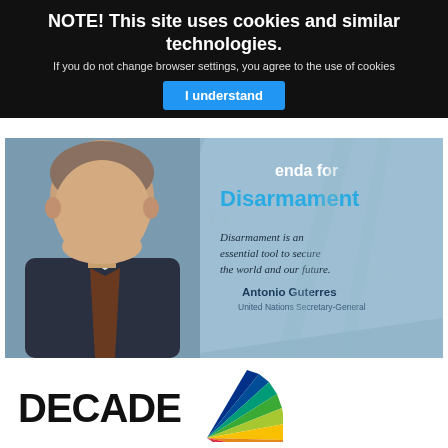NOTE! This site uses cookies and similar technologies.
If you do not change browser settings, you agree to the use of cookies
I understand
[Figure (photo): Hero banner with photo of Antonio Guterres on the left and text on the right on a blue-grey background. Text reads: Agenda for Disarmament. Quote: Disarmament is an essential tool to secure the world and our future. — Antonio Guterres, United Nations Secretary-General]
DECADE
[Figure (illustration): SDG color wheel/logo (partial fan of colored segments in SDG rainbow colors)]